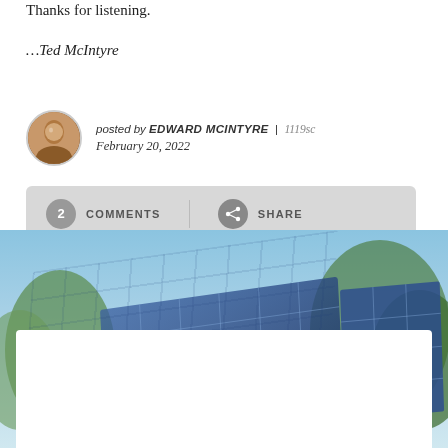Thanks for listening.
…Ted McIntyre
posted by EDWARD MCINTYRE | 1119sc February 20, 2022
[Figure (other): Solar panels with trees in background, outdoor photo]
Looking at gas leaks through an environmental